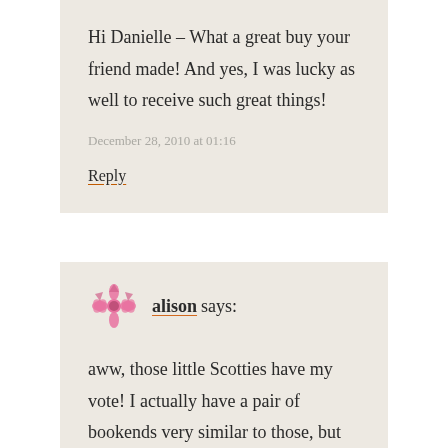Hi Danielle – What a great buy your friend made! And yes, I was lucky as well to receive such great things!
December 28, 2010 at 01:16
Reply
alison says:
aww, those little Scotties have my vote! I actually have a pair of bookends very similar to those, but they're bunnies. I love